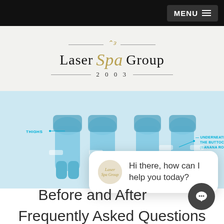MENU
[Figure (logo): Laser Spa Group logo with decorative script, serif text, and year 2003, on a light gray background]
[Figure (illustration): Blue-toned anatomical illustration of lower body legs showing treatment areas labeled 'THIGHS' and 'UNDERNEATH THE BUTTOCKS (BANANA ROLL)']
[Figure (screenshot): Chat popup widget with Laser Spa Group avatar and message: 'Hi there, how can I help you today?']
Before and After
Frequently Asked Questions